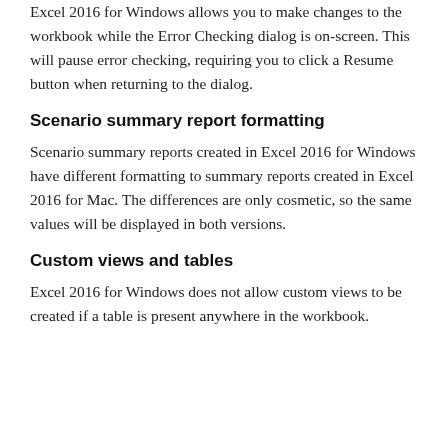Excel 2016 for Windows allows you to make changes to the workbook while the Error Checking dialog is on-screen. This will pause error checking, requiring you to click a Resume button when returning to the dialog.
Scenario summary report formatting
Scenario summary reports created in Excel 2016 for Windows have different formatting to summary reports created in Excel 2016 for Mac. The differences are only cosmetic, so the same values will be displayed in both versions.
Custom views and tables
Excel 2016 for Windows does not allow custom views to be created if a table is present anywhere in the workbook.